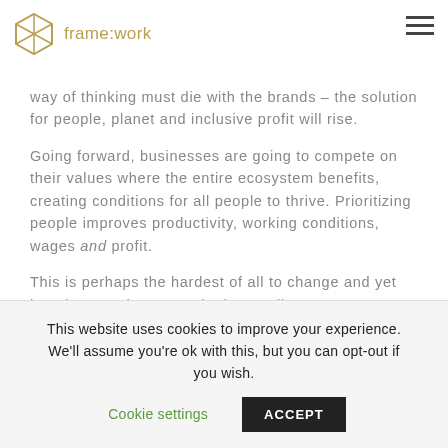[Figure (logo): frame:work logo with geometric hexagonal icon in gold/olive color and text 'frame:work' beside it]
way of thinking must die with the brands – the solution for people, planet and inclusive profit will rise.
Going forward, businesses are going to compete on their values where the entire ecosystem benefits, creating conditions for all people to thrive. Prioritizing people improves productivity, working conditions, wages and profit.
This is perhaps the hardest of all to change and yet has the most impact to the bottom line.
This website uses cookies to improve your experience. We'll assume you're ok with this, but you can opt-out if you wish.  Cookie settings  ACCEPT